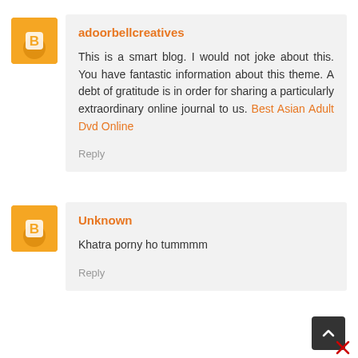adoorbellcreatives
This is a smart blog. I would not joke about this. You have fantastic information about this theme. A debt of gratitude is in order for sharing a particularly extraordinary online journal to us. Best Asian Adult Dvd Online
Reply
Unknown
Khatra porny ho tummmm
Reply